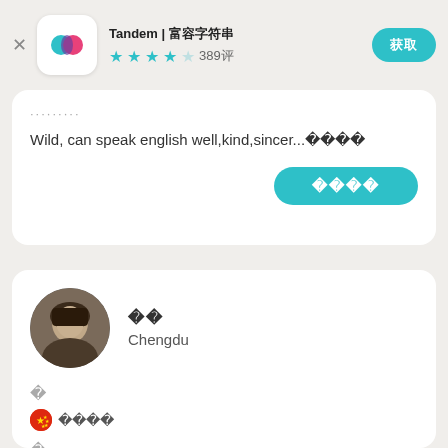Tandem | 联系母语人士 × 2 (app header with icon, stars: 389评, 获取 button)
啊啊啊啊啊啊啊啊啊
Wild, can speak english well,kind,sincer...更多
联系我
朋友
Chengdu
🇨🇳 普通话(中文)
🇨🇳 🇬🇧 🌐